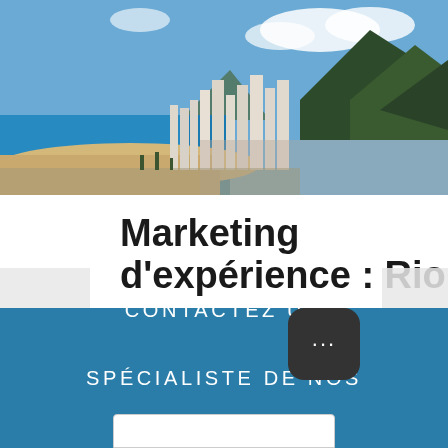[Figure (photo): Aerial view of Copacabana beach in Rio de Janeiro, showing turquoise ocean, sandy beach, dense urban buildings, and mountain peaks in the background under a blue sky with clouds.]
Marketing d'expérience : Rio
CONTACTEZ UN SPÉCIALISTE DE NOS SOLUTIONS